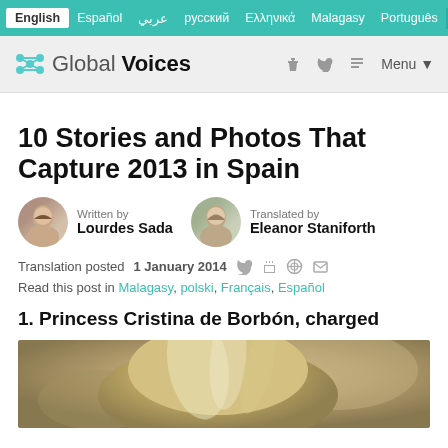English | Español | عربي | русский | Ελληνικά | Malagasy | Português
Global Voices — f  RSS  Menu
10 Stories and Photos That Capture 2013 in Spain
Written by Lourdes Sada — Translated by Eleanor Staniforth
Translation posted 1 January 2014
Read this post in Malagasy, polski, Français, Español
1. Princess Cristina de Borbón, charged
[Figure (photo): Photo of a blonde woman seen from behind, blurred outdoor background]